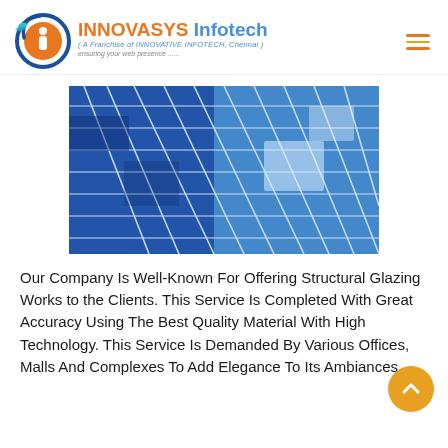[Figure (logo): Innovasys Infotech logo with circular bird emblem, orange and blue brand name, franchise tagline and web presence slogan]
[Figure (photo): Upward-angle photograph of a modern glass skyscraper with blue reflective glass panels and a white sky]
Our Company Is Well-Known For Offering Structural Glazing Works to the Clients. This Service Is Completed With Great Accuracy Using The Best Quality Material With High Technology. This Service Is Demanded By Various Offices, Malls And Complexes To Add Elegance To Its Ambiances.